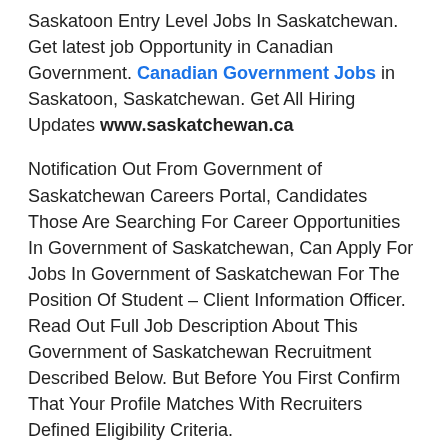Saskatoon Entry Level Jobs In Saskatchewan. Get latest job Opportunity in Canadian Government. Canadian Government Jobs in Saskatoon, Saskatchewan. Get All Hiring Updates www.saskatchewan.ca
Notification Out From Government of Saskatchewan Careers Portal, Candidates Those Are Searching For Career Opportunities In Government of Saskatchewan, Can Apply For Jobs In Government of Saskatchewan For The Position Of Student – Client Information Officer. Read Out Full Job Description About This Government of Saskatchewan Recruitment Described Below. But Before You First Confirm That Your Profile Matches With Recruiters Defined Eligibility Criteria.